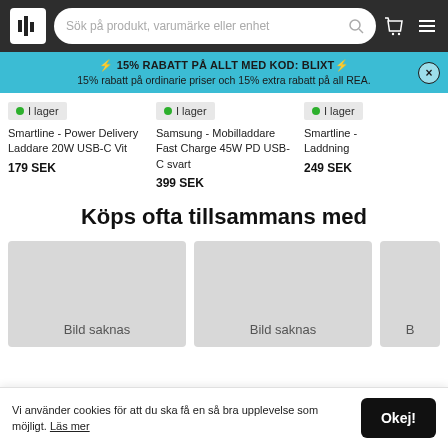Sök på produkt, varumärke eller enhet
⚡ 15% RABATT PÅ ALLT MED KOD: BLIXT⚡
15% rabatt på ordinarie priser och 15% extra rabatt på all REA.
I lager — Smartline - Power Delivery Laddare 20W USB-C Vit — 179 SEK
I lager — Samsung - Mobilladdare Fast Charge 45W PD USB-C svart — 399 SEK
I lager — Smartline - Laddning — 249 SEK
Köps ofta tillsammans med
[Figure (photo): Placeholder image: Bild saknas (1)]
[Figure (photo): Placeholder image: Bild saknas (2)]
[Figure (photo): Placeholder image: B (partially visible)]
Vi använder cookies för att du ska få en så bra upplevelse som möjligt. Läs mer
Okej!